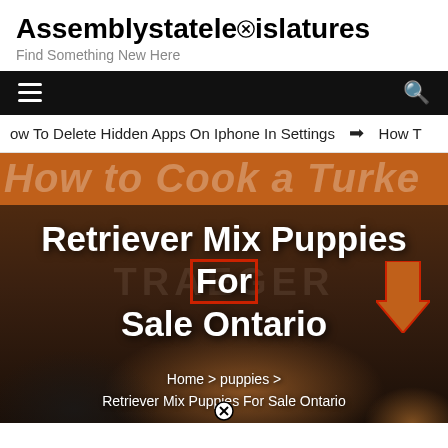Assemblystatelegislatures
Find Something New Here
[Figure (screenshot): Navigation bar with hamburger menu icon on left and search icon on right, black background]
ow To Delete Hidden Apps On Iphone In Settings  ❯  How T
[Figure (photo): Hero image showing a turkey being cooked on a Traeger grill with orange banner reading 'How to Cook a Turkey' and overlay text 'Retriever Mix Puppies For Sale Ontario' with breadcrumb navigation 'Home > puppies > Retriever Mix Puppies For Sale Ontario']